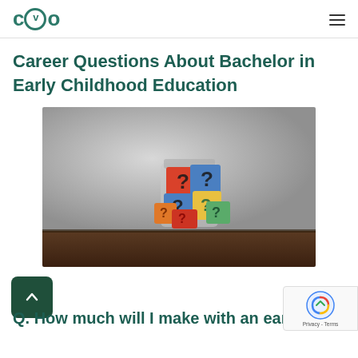CVO
Career Questions About Bachelor in Early Childhood Education
[Figure (photo): A glass jar filled with colorful paper question mark tiles on a wooden table with a grey background]
Q. How much will I make with an ea...